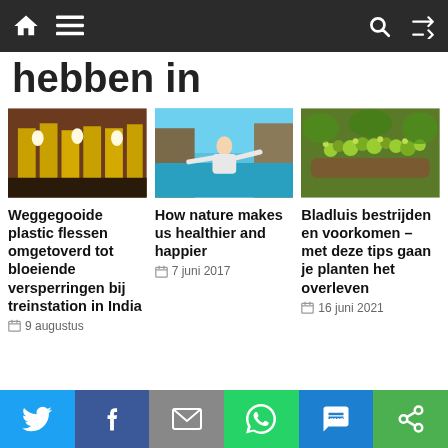hebben in
[Figure (photo): People in yellow garments near a decorated structure, festival scene at a train station in India]
[Figure (photo): Woman with red hair standing with arms spread wide near a turquoise mountain lake]
[Figure (photo): Close-up of green aphids/bladluis on a mossy plant stem]
Weggegooide plastic flessen omgetoverd tot bloeiende versperringen bij treinstation in India
How nature makes us healthier and happier
Bladluis bestrijden en voorkomen – met deze tips gaan je planten het overleven
9 augustus
7 juni 2017
16 juni 2021